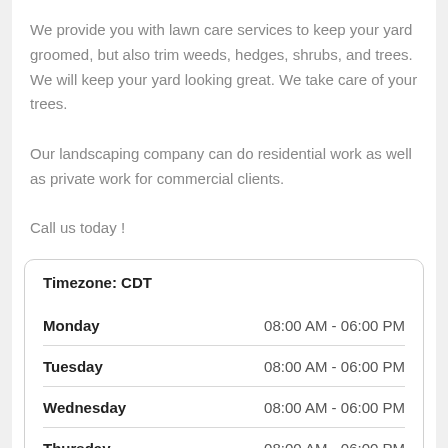We provide you with lawn care services to keep your yard groomed, but also trim weeds, hedges, shrubs, and trees. We will keep your yard looking great. We take care of your trees.
Our landscaping company can do residential work as well as private work for commercial clients.
Call us today !
| Day | Hours |
| --- | --- |
| Monday | 08:00 AM - 06:00 PM |
| Tuesday | 08:00 AM - 06:00 PM |
| Wednesday | 08:00 AM - 06:00 PM |
| Thursday | 08:00 AM - 06:00 PM |